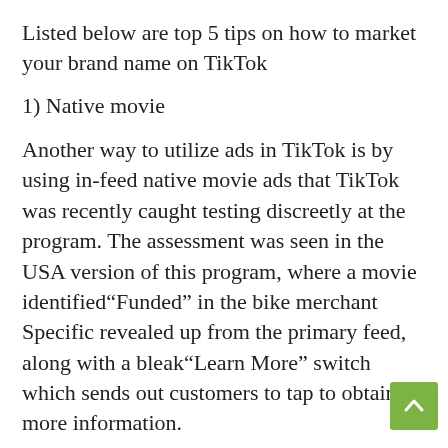Listed below are top 5 tips on how to market your brand name on TikTok
1) Native movie
Another way to utilize ads in TikTok is by using in-feed native movie ads that TikTok was recently caught testing discreetly at the program. The assessment was seen in the USA version of this program, where a movie identified“Funded” in the bike merchant Specific revealed up from the primary feed, along with a bleak“Learn More” switch which sends out customers to tap to obtain more information.
Most likely, this switch can be personalized to guide users to the advertiser Website or some various other internet address. Still, also, in the meantime, it opened the Specific Bikes (Specialized bikes) page to it to with the